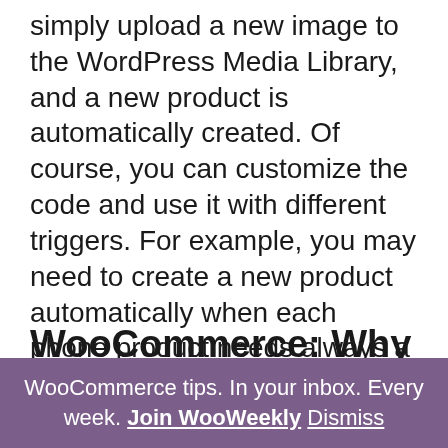simply upload a new image to the WordPress Media Library, and a new product is automatically created. Of course, you can customize the code and use it with different triggers. For example, you may need to create a new product automatically when each phone product needs always a matching case product, just with a different title. Or maybe you want to tie product creation once an order is placed. Either way, enjoy: https://www.businessbloomer.com/woocommerce-programmatically-create-product/
WooCommerce: Why Use
WooCommerce tips. In your inbox. Every week. Join WooWeekly Dismiss